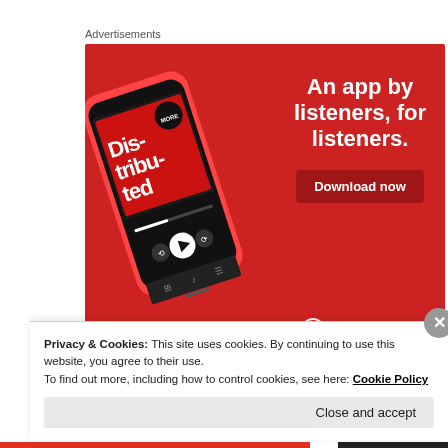Advertisements
[Figure (illustration): Pocket Casts advertisement banner on red background showing a smartphone displaying a podcast episode 'Distributed', with the text 'An app by listeners, for listeners.' and a 'Download now' button, and the Pocket Casts logo at the bottom right.]
REPORT THIS AD
Privacy & Cookies: This site uses cookies. By continuing to use this website, you agree to their use.
To find out more, including how to control cookies, see here: Cookie Policy
Close and accept